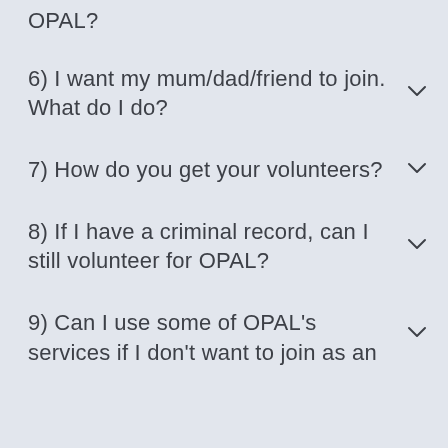OPAL?
6) I want my mum/dad/friend to join. What do I do?
7) How do you get your volunteers?
8) If I have a criminal record, can I still volunteer for OPAL?
9) Can I use some of OPAL's services if I don't want to join as an